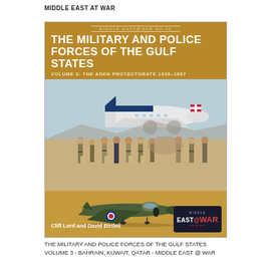MIDDLE EAST AT WAR
[Figure (photo): Book cover for 'The Military and Police Forces of the Gulf States Volume 3: The Aden Protectorate 1839-1967' by Cliff Lord and David Birtles. Part of the Middle East@War series No.40. Cover shows military personnel standing in front of an aircraft on a desert airfield, with an illustration of a Hawker Hunter jet aircraft below. Published by Middle East@War series.]
THE MILITARY AND POLICE FORCES OF THE GULF STATES
VOLUME 3 - BAHRAIN, KUWAIT, QATAR - MIDDLE EAST @ WAR